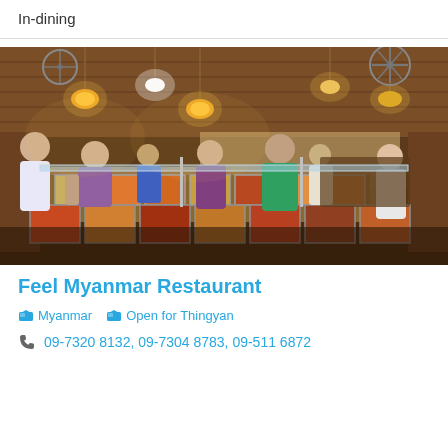In-dining
[Figure (photo): Interior of Feel Myanmar Restaurant showing a large buffet spread with many food trays in metal containers, customers and staff around the buffet line, wooden ceiling with hanging lanterns, and dining tables in the background.]
Feel Myanmar Restaurant
Myanmar   Open for Thingyan
09-7320 8132, 09-7304 8783, 09-511 6872